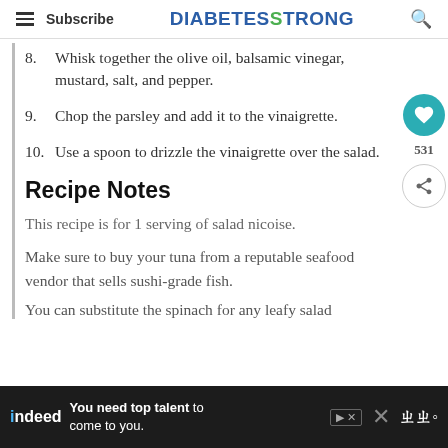Subscribe | DIABETESTRONG
8. Whisk together the olive oil, balsamic vinegar, mustard, salt, and pepper.
9. Chop the parsley and add it to the vinaigrette.
10. Use a spoon to drizzle the vinaigrette over the salad.
Recipe Notes
This recipe is for 1 serving of salad nicoise.
Make sure to buy your tuna from a reputable seafood vendor that sells sushi-grade fish.
You can substitute the spinach for any leafy salad
[Figure (infographic): Indeed advertisement banner: 'You need top talent to come to you.' with indeed logo and close button]